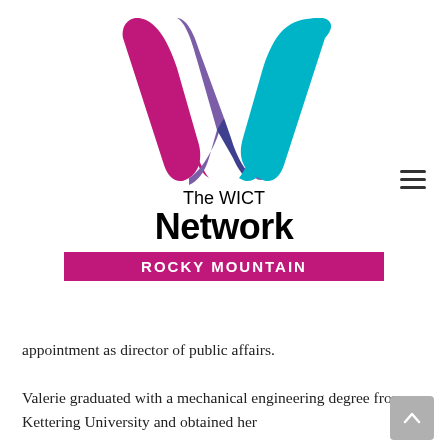[Figure (logo): The WICT Network Rocky Mountain logo — stylized W shape in magenta/purple/teal colors above the text 'The WICT Network' and a magenta banner reading 'ROCKY MOUNTAIN']
appointment as director of public affairs.
Valerie graduated with a mechanical engineering degree from Kettering University and obtained her